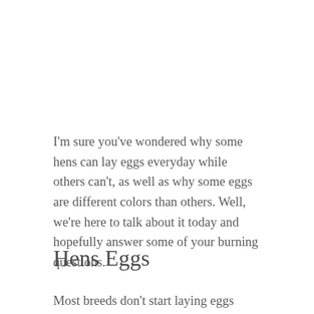I'm sure you've wondered why some hens can lay eggs everyday while others can't, as well as why some eggs are different colors than others. Well, we're here to talk about it today and hopefully answer some of your burning questions.
Hens Eggs
Most breeds don't start laying eggs until they are